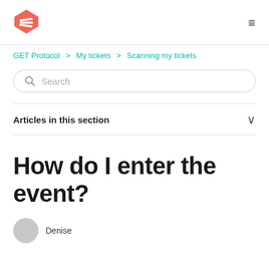GET Protocol logo and navigation
GET Protocol > My tickets > Scanning my tickets
Search
Articles in this section
How do I enter the event?
Denise